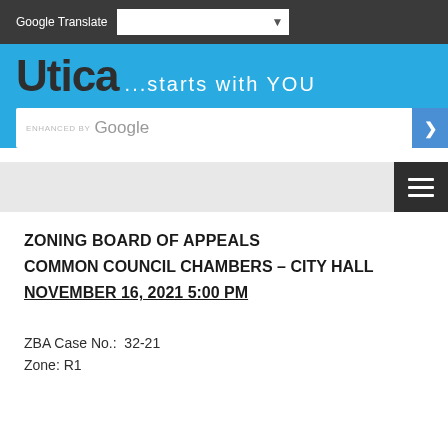Google Translate
[Figure (screenshot): Utica city website header with blue background showing 'Utica ...starts with YOU' logo and Google-enhanced search bar]
ZONING BOARD OF APPEALS
COMMON COUNCIL CHAMBERS – CITY HALL
NOVEMBER 16, 2021 5:00 PM
ZBA Case No.:  32-21
Zone: R1